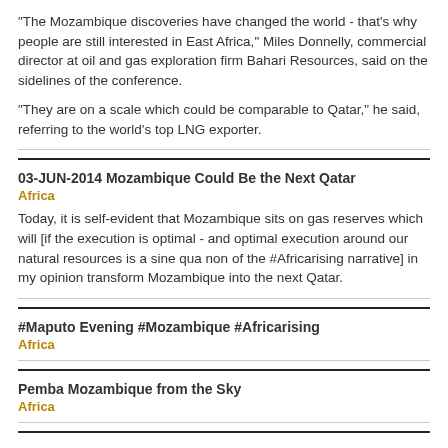"The Mozambique discoveries have changed the world - that's why people are still interested in East Africa," Miles Donnelly, commercial director at oil and gas exploration firm Bahari Resources, said on the sidelines of the conference.
"They are on a scale which could be comparable to Qatar," he said, referring to the world's top LNG exporter.
03-JUN-2014 Mozambique Could Be the Next Qatar
Africa
Today, it is self-evident that Mozambique sits on gas reserves which will [if the execution is optimal - and optimal execution around our natural resources is a sine qua non of the #Africarising narrative] in my opinion transform Mozambique into the next Qatar.
#Maputo Evening #Mozambique #Africarising
Africa
Pemba Mozambique from the Sky
Africa